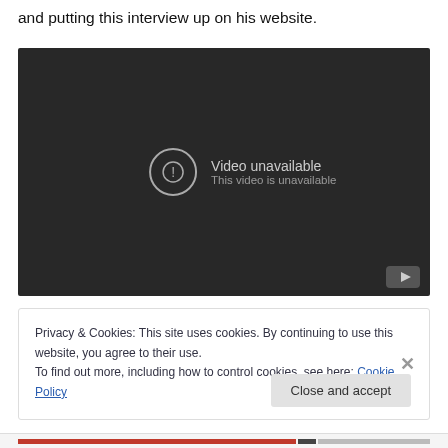and putting this interview up on his website.
[Figure (screenshot): Embedded YouTube video player showing 'Video unavailable – This video is unavailable' error message on a dark background with a YouTube logo button in the bottom right corner.]
Privacy & Cookies: This site uses cookies. By continuing to use this website, you agree to their use.
To find out more, including how to control cookies, see here: Cookie Policy